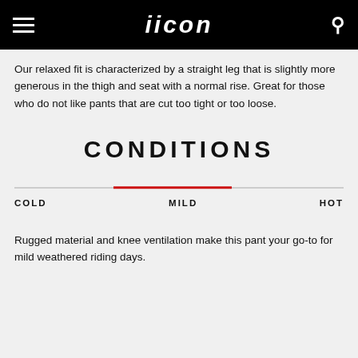icon (logo navigation header)
Our relaxed fit is characterized by a straight leg that is slightly more generous in the thigh and seat with a normal rise. Great for those who do not like pants that are cut too tight or too loose.
CONDITIONS
[Figure (infographic): A horizontal temperature range slider with a gray track spanning the full width. A red highlighted segment sits in the center-to-right-center portion. Labels below read COLD on the left, MILD in the center, and HOT on the right.]
Rugged material and knee ventilation make this pant your go-to for mild weathered riding days.